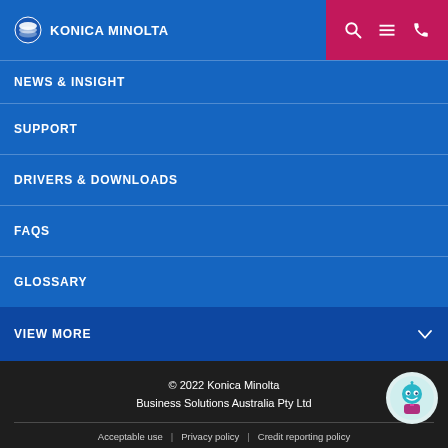Konica Minolta
NEWS & INSIGHT
SUPPORT
DRIVERS & DOWNLOADS
FAQS
GLOSSARY
VIEW MORE
© 2022 Konica Minolta Business Solutions Australia Pty Ltd
Acceptable use | Privacy policy | Credit reporting policy